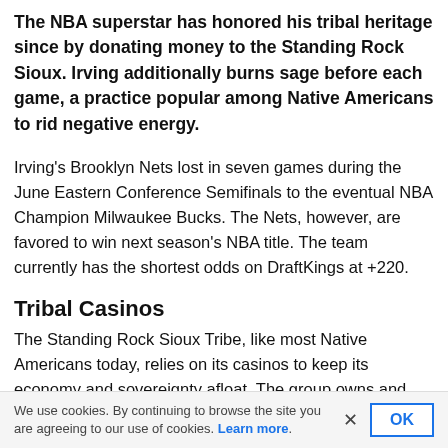The NBA superstar has honored his tribal heritage since by donating money to the Standing Rock Sioux. Irving additionally burns sage before each game, a practice popular among Native Americans to rid negative energy.
Irving's Brooklyn Nets lost in seven games during the June Eastern Conference Semifinals to the eventual NBA Champion Milwaukee Bucks. The Nets, however, are favored to win next season's NBA title. The team currently has the shortest odds on DraftKings at +220.
Tribal Casinos
The Standing Rock Sioux Tribe, like most Native Americans today, relies on its casinos to keep its economy and sovereignty afloat. The group owns and operates two
We use cookies. By continuing to browse the site you are agreeing to our use of cookies. Learn more.